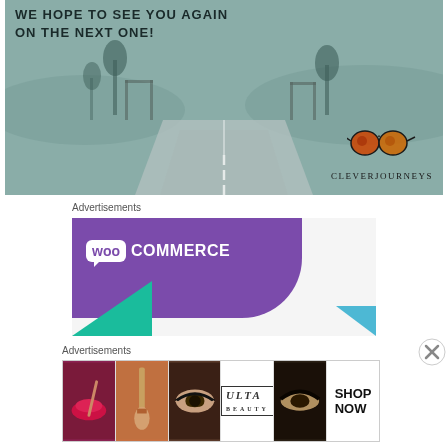[Figure (photo): Road trip photo with teal/grey tint showing a highway receding into the distance with palm trees and hills. Text overlay reads 'WE HOPE TO SEE YOU AGAIN ON THE NEXT ONE!' with CleverJourneys logo (sunglasses icon) in bottom right.]
Advertisements
[Figure (logo): WooCommerce advertisement banner with purple background, teal triangle bottom-left, blue triangle bottom-right, and WooCommerce logo in white.]
Advertisements
[Figure (photo): Ulta Beauty advertisement strip showing five panels: red lips with brush, makeup brush, eye with makeup, Ulta Beauty logo, dramatic eye makeup, and 'SHOP NOW' text panel.]